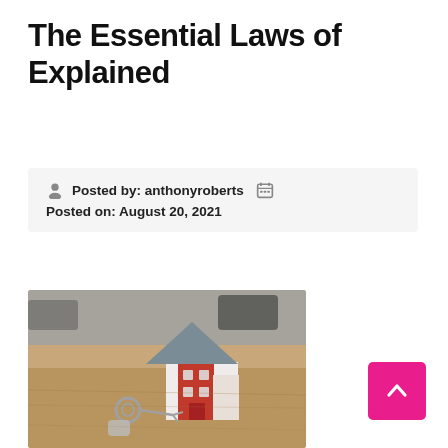The Essential Laws of Explained
Posted by: anthonyroberts   Posted on: August 20, 2021
[Figure (photo): A miniature model house with a grey roof and red walls, with house keys on a keyring placed in front, on a wooden surface. Background is blurred office setting.]
[Figure (other): Pink scroll-to-top button with upward chevron arrow.]